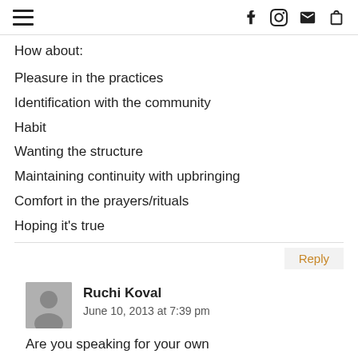[hamburger menu] [facebook icon] [instagram icon] [email icon] [bag icon]
How about:
Pleasure in the practices
Identification with the community
Habit
Wanting the structure
Maintaining continuity with upbringing
Comfort in the prayers/rituals
Hoping it's true
Reply
Ruchi Koval
June 10, 2013 at 7:39 pm
Are you speaking for your own